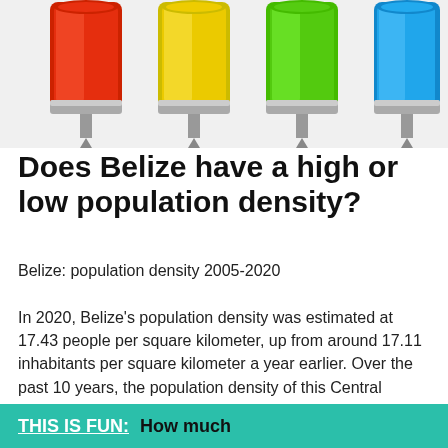[Figure (photo): Four colorful syringes/test tubes filled with red, yellow, green, and blue liquid, photographed from below against a white background.]
Does Belize have a high or low population density?
Belize: population density 2005-2020
In 2020, Belize’s population density was estimated at 17.43 people per square kilometer, up from around 17.11 inhabitants per square kilometer a year earlier. Over the past 10 years, the population density of this Central American country has increased almost 30 percent.
THIS IS FUN:  How much